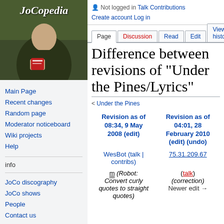[Figure (photo): JoCopedia wiki logo showing a person holding a book/pamphlet against a dark green background with cursive 'JoCopedia' text]
Main Page
Recent changes
Random page
Moderator noticeboard
Wiki projects
Help
info
JoCo discography
JoCo shows
People
Contact us
external links
Not logged in  Talk  Contributions  Create account  Log in
Difference between revisions of "Under the Pines/Lyrics"
< Under the Pines
| Revision as of 08:34, 9 May 2008 (edit) | Revision as of 04:01, 28 February 2010 (edit) (undo) |
| --- | --- |
| WesBot (talk | contribs) | 75.31.209.67 |
| m (Robot: Convert curly quotes to straight quotes) | (talk)
(correction)
Newer edit → |